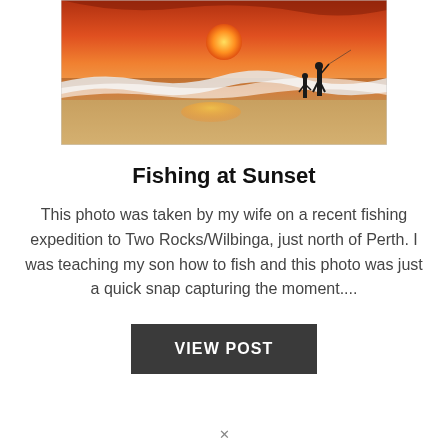[Figure (photo): A sunset beach scene with two figures (an adult and a child) standing at the water's edge with waves coming in and a large orange sun reflecting on the wet sand.]
Fishing at Sunset
This photo was taken by my wife on a recent fishing expedition to Two Rocks/Wilbinga, just north of Perth. I was teaching my son how to fish and this photo was just a quick snap capturing the moment....
VIEW POST